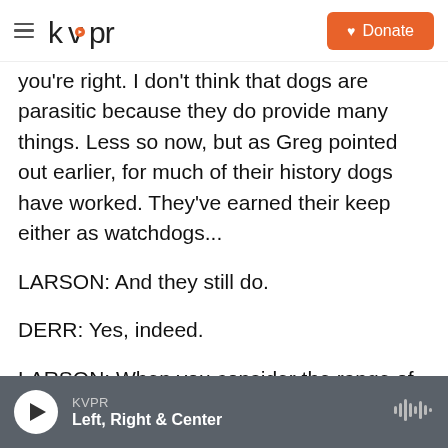KVPR | Donate
you're right. I don't think that dogs are parasitic because they do provide many things. Less so now, but as Greg pointed out earlier, for much of their history dogs have worked. They've earned their keep either as watchdogs...
LARSON: And they still do.
DERR: Yes, indeed.
LARSON: When you consider the range of jobs that dogs are doing now that they never have done before. I mean just think of going through an airport and having bomb-sniffing dogs and cancer-sniffing
KVPR | Left, Right & Center